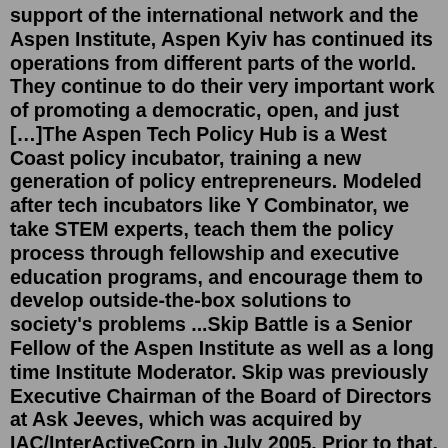support of the international network and the Aspen Institute, Aspen Kyiv has continued its operations from different parts of the world. They continue to do their very important work of promoting a democratic, open, and just […]The Aspen Tech Policy Hub is a West Coast policy incubator, training a new generation of policy entrepreneurs. Modeled after tech incubators like Y Combinator, we take STEM experts, teach them the policy process through fellowship and executive education programs, and encourage them to develop outside-the-box solutions to society's problems ...Skip Battle is a Senior Fellow of the Aspen Institute as well as a long time Institute Moderator. Skip was previously Executive Chairman of the Board of Directors at Ask Jeeves, which was acquired by IAC/InterActiveCorp in July 2005. Prior to that, Skip was Chief Executive Officer of the company from 2000 to 2003. From 1968 until his.3 Aspen Institute jobs in San Francisco, CA. Search job openings, see if they fit - company salaries, reviews, and more posted by Aspen Institute employees. The